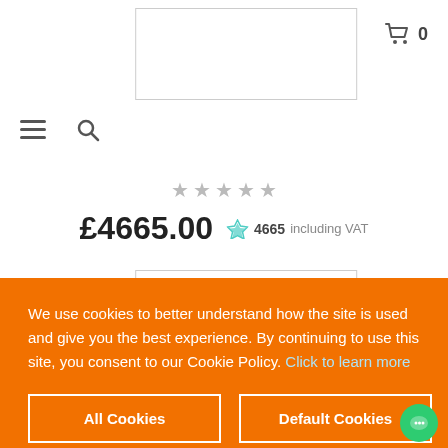[Figure (screenshot): Shopping cart icon with count 0 in top right corner]
[Figure (screenshot): Product image placeholder (white rectangle with border) at top]
[Figure (screenshot): Hamburger menu icon and search icon in navigation bar]
[Figure (screenshot): Five star rating row (all grey/unfilled stars)]
£4665.00  4665 including VAT
[Figure (screenshot): Second product image placeholder (white rectangle with border)]
We use cookies to better understand how the site is used and give you the best experience. By continuing to use this site, you consent to our Cookie Policy. Click to learn more
All Cookies
Default Cookies